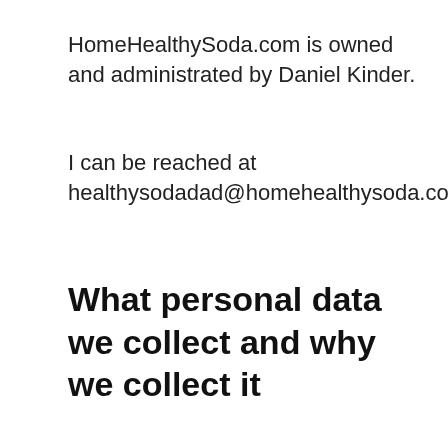HomeHealthySoda.com is owned and administrated by Daniel Kinder.
I can be reached at healthysodadad@homehealthysoda.com
What personal data we collect and why we collect it